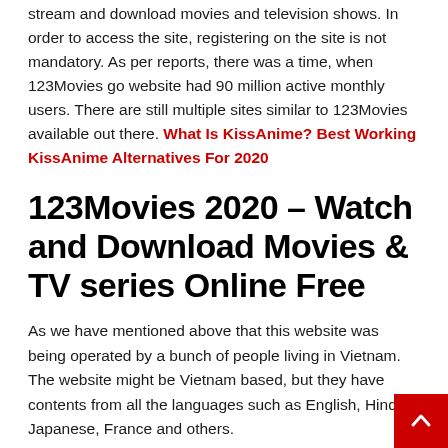stream and download movies and television shows. In order to access the site, registering on the site is not mandatory. As per reports, there was a time, when 123Movies go website had 90 million active monthly users. There are still multiple sites similar to 123Movies available out there. What Is KissAnime? Best Working KissAnime Alternatives For 2020
123Movies 2020 – Watch and Download Movies & TV series Online Free
As we have mentioned above that this website was being operated by a bunch of people living in Vietnam. The website might be Vietnam based, but they have contents from all the languages such as English, Hindi, Japanese, France and others.
What makes 123Moviesfree.sc site extraordinary is that it